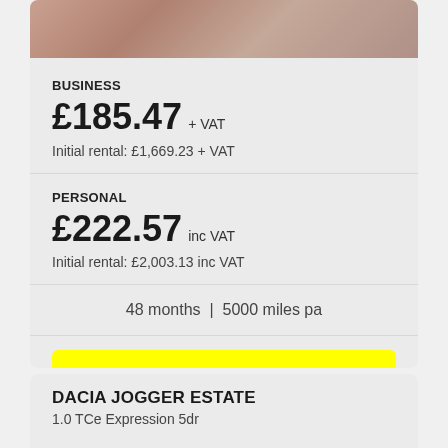[Figure (photo): Car image - pinkish/rose gold metallic surface, top portion of a car listing card]
BUSINESS
£185.47 + VAT
Initial rental: £1,669.23 + VAT
PERSONAL
£222.57 inc VAT
Initial rental: £2,003.13 inc VAT
48 months  |  5000 miles pa
View deal
DACIA JOGGER ESTATE
1.0 TCe Expression 5dr